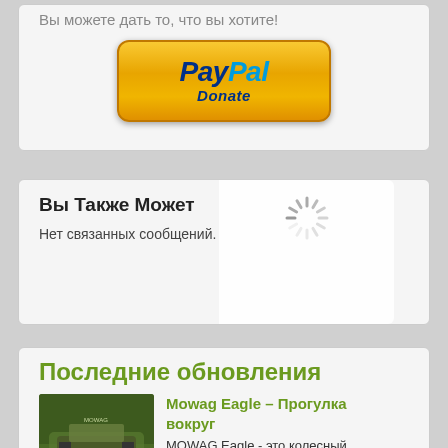Вы можете дать то, что вы хотите!
[Figure (logo): PayPal Donate button — orange gradient rounded rectangle with PayPal logo in blue italic text and 'Donate' subtitle]
Вы Также Может
[Figure (other): Loading spinner overlay — circular spinner with radiating lines indicating loading state]
Нет связанных сообщений.
Последние обновления
[Figure (photo): Photo of a MOWAG Eagle military wheeled armored vehicle in forest/outdoor setting]
Mowag Eagle – Прогулка вокруг
MOWAG Eagle - это колесный бронированный автомобиль, разработанный швейцарской